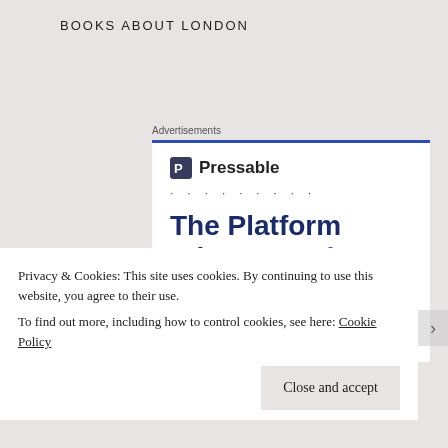BOOKS ABOUT LONDON
Advertisements
[Figure (screenshot): Pressable advertisement banner. Shows the Pressable logo (blue square with 'P' icon) followed by decorative dots, then large bold headline text reading 'The Platform Where WordPress Works Best' with 'WordPress' and 'Best' highlighted in blue. A blue 'SEE PRICING' button appears at bottom right.]
Privacy & Cookies: This site uses cookies. By continuing to use this website, you agree to their use.
To find out more, including how to control cookies, see here: Cookie Policy